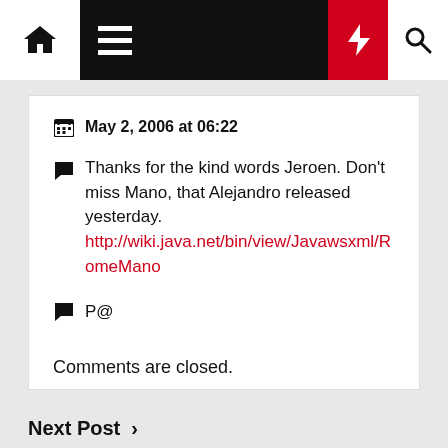Navigation bar with home, menu, bolt, and search icons
May 2, 2006 at 06:22
Thanks for the kind words Jeroen. Don't miss Mano, that Alejandro released yesterday. http://wiki.java.net/bin/view/Javawsxml/RomeMano
P@
Comments are closed.
Next Post >